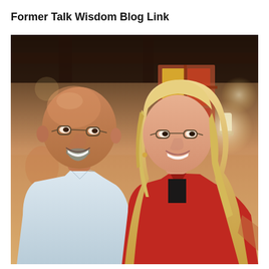Former Talk Wisdom Blog Link
[Figure (photo): A man and woman smiling together in a restaurant setting. The man on the left is bald with a goatee and glasses, wearing a light blue shirt. The woman on the right has long blonde hair and glasses, wearing a red jacket. Warm restaurant interior with decorative lighting visible in the background.]